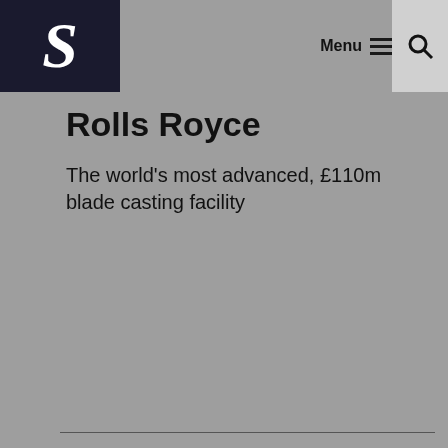S   Menu   🔍
Rolls Royce
The world's most advanced, £110m blade casting facility
Your choice regarding cookies on this site
We use cookies to optimise site functionality and give you the best possible experience.
Accept all cookies
Adjust cookie settings